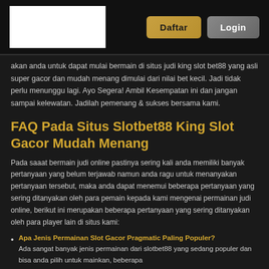Daftar | Login
akan anda untuk dapat mulai bermain di situs judi king slot bet88 yang asli super gacor dan mudah menang dimulai dari nilai bet kecil. Jadi tidak perlu menunggu lagi. Ayo Segera! Ambil Kesempatan ini dan jangan sampai kelewatan. Jadilah pemenang & sukses bersama kami.
FAQ Pada Situs Slotbet88 King Slot Gacor Mudah Menang
Pada saaat bermain judi online pastinya sering kali anda memiliki banyak pertanyaan yang belum terjawab namun anda ragu untuk menanyakan pertanyaan tersebut, maka anda dapat menemui beberapa pertanyaan yang sering ditanyakan oleh para pemain kepada kami mengenai permainan judi online, berikut ini merupakan beberapa pertanyaan yang sering ditanyakan oleh para player lain di situs kami:
Apa Jenis Permainan Slot Gacor Pragmatic Paling Populer? Ada sangat banyak jenis permainan dari slotbet88 yang sedang populer dan bisa anda pilih untuk mainkan, beberapa